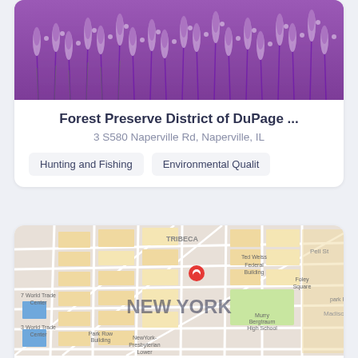[Figure (photo): Close-up photo of purple lavender flowers in bloom]
Forest Preserve District of DuPage ...
3 S580 Naperville Rd, Naperville, IL
Hunting and Fishing
Environmental Qualit
[Figure (map): Map of New York City showing Tribeca area with a red location pin, labeled NEW YORK. Shows landmarks: 7 World Trade Center, Ted Weiss Federal Building, Foley Square, Park Row Building, NewYork-Presbyterian Lower, Murry Bergtraum High School, Madison.]
Outdoor Sports Group, LLC
555 N River Rd, Rosemont, IL